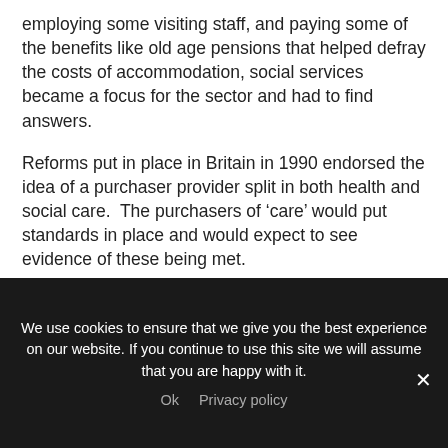employing some visiting staff, and paying some of the benefits like old age pensions that helped defray the costs of accommodation, social services became a focus for the sector and had to find answers.
Reforms put in place in Britain in 1990 endorsed the idea of a purchaser provider split in both health and social care.  The purchasers of ‘care’ would put standards in place and would expect to see evidence of these being met.
This made it possible for social service (and health) departments with a brief to fund social care to contract out to groups who claimed they had
We use cookies to ensure that we give you the best experience on our website. If you continue to use this site we will assume that you are happy with it.
Ok   Privacy policy